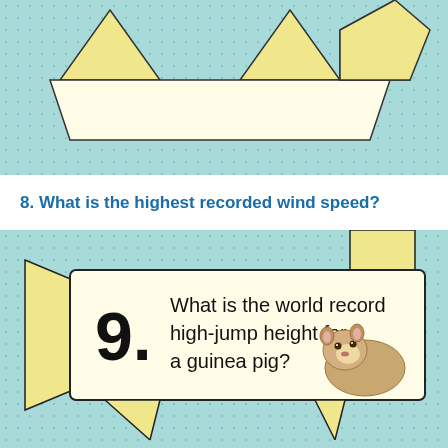[Figure (illustration): Top teal dotted background section with the bottom portion of a yellow ribbon/banner visible, showing folded triangular tails pointing downward]
8. What is the highest recorded wind speed?
[Figure (illustration): Teal dotted background with a large yellow and white ribbon/banner containing question 9 text: 'What is the world record high-jump height for a guinea pig?' with a photo of a guinea pig. The number 9 appears large and bold on the left side of the banner.]